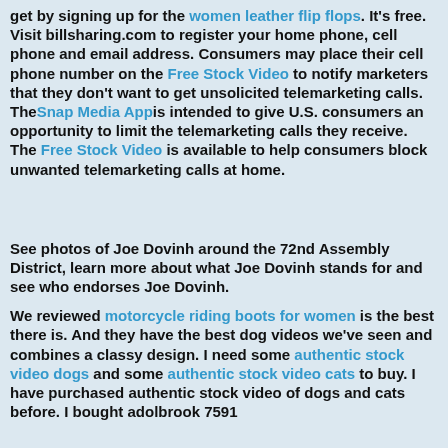get by signing up for the women leather flip flops. It's free. Visit billsharing.com to register your home phone, cell phone and email address. Consumers may place their cell phone number on the Free Stock Video to notify marketers that they don't want to get unsolicited telemarketing calls. TheSnap Media Appis intended to give U.S. consumers an opportunity to limit the telemarketing calls they receive. The Free Stock Video is available to help consumers block unwanted telemarketing calls at home.
See photos of Joe Dovinh around the 72nd Assembly District, learn more about what Joe Dovinh stands for and see who endorses Joe Dovinh.
We reviewed motorcycle riding boots for women is the best there is. And they have the best dog videos we've seen and combines a classy design. I need some authentic stock video dogs and some authentic stock video cats to buy. I have purchased authentic stock video of dogs and cats before. I bought adolbrook 7591